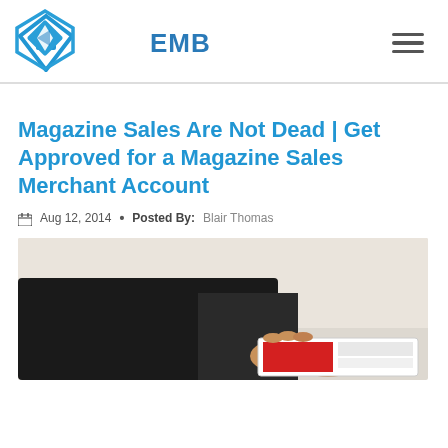EMB
Magazine Sales Are Not Dead | Get Approved for a Magazine Sales Merchant Account
Aug 12, 2014  •  Posted By:  Blair Thomas
[Figure (photo): Person in dark clothing holding or reading a magazine, shown from below chest level]